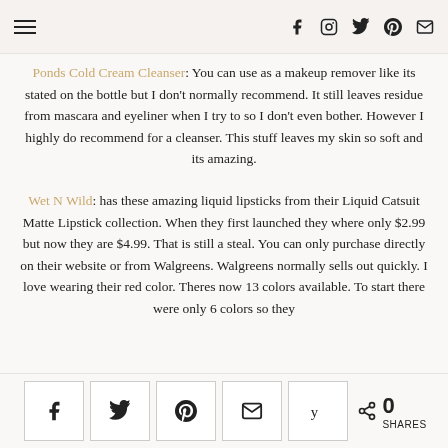Navigation header with hamburger menu and social icons (Facebook, Instagram, Twitter, Pinterest, Email)
Ponds Cold Cream Cleanser: You can use as a makeup remover like its stated on the bottle but I don't normally recommend. It still leaves residue from mascara and eyeliner when I try to so I don't even bother. However I highly do recommend for a cleanser. This stuff leaves my skin so soft and its amazing.
Wet N Wild: has these amazing liquid lipsticks from their Liquid Catsuit Matte Lipstick collection. When they first launched they where only $2.99 but now they are $4.99. That is still a steal. You can only purchase directly on their website or from Walgreens. Walgreens normally sells out quickly. I love wearing their red color. Theres now 13 colors available. To start there were only 6 colors so they
Social share buttons: Facebook, Twitter, Pinterest, Email, Yummly | 0 SHARES